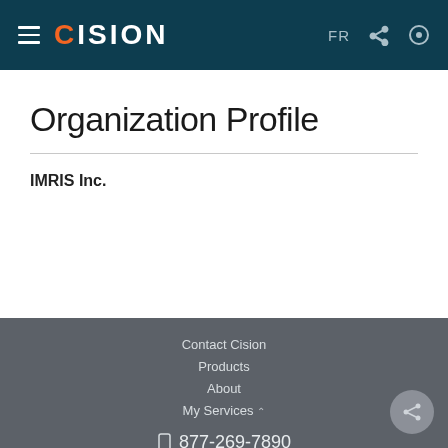CISION — FR
Organization Profile
IMRIS Inc.
Contact Cision
Products
About
My Services
877-269-7890
from 8 AM - 10 PM ET